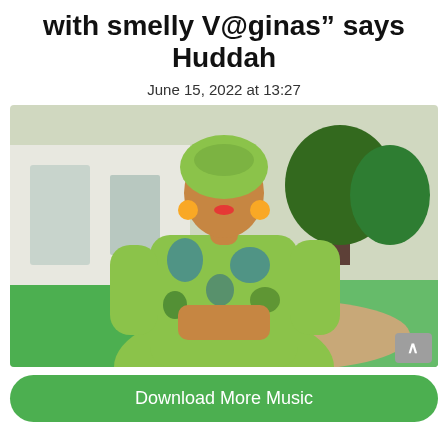with smelly V@ginas” says Huddah
June 15, 2022 at 13:27
[Figure (photo): Woman wearing green and blue African print outfit with matching head wrap, posing outdoors near a white building with green lawn and trees in the background.]
Download More Music